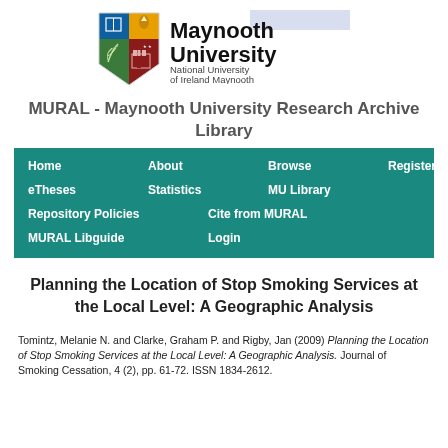[Figure (logo): Maynooth University shield logo with text: Maynooth University National University of Ireland Maynooth]
MURAL - Maynooth University Research Archive Library
Home | About | Browse | Register | eTheses | Statistics | MU Library | Repository Policies | Cite from MURAL | MURAL Libguide | Login
Planning the Location of Stop Smoking Services at the Local Level: A Geographic Analysis
Tomintz, Melanie N. and Clarke, Graham P. and Rigby, Jan (2009) Planning the Location of Stop Smoking Services at the Local Level: A Geographic Analysis. Journal of Smoking Cessation, 4 (2), pp. 61-72. ISSN 1834-2612.